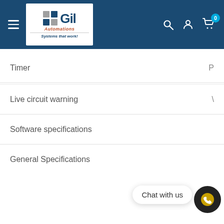[Figure (screenshot): Gil Automations website header with logo, hamburger menu, search, account and cart icons on a dark blue background]
| Feature | Value |
| --- | --- |
| Timer |  |
| Live circuit warning |  |
| Software specifications |  |
| General Specifications |  |